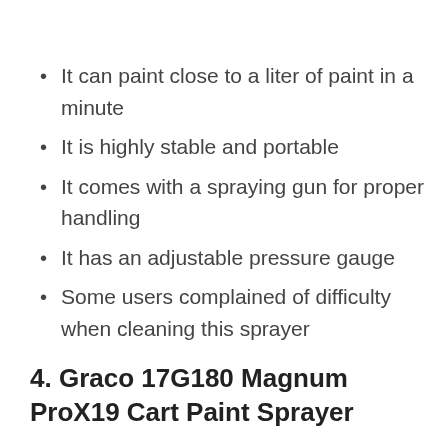It can paint close to a liter of paint in a minute
It is highly stable and portable
It comes with a spraying gun for proper handling
It has an adjustable pressure gauge
Some users complained of difficulty when cleaning this sprayer
4. Graco 17G180 Magnum ProX19 Cart Paint Sprayer